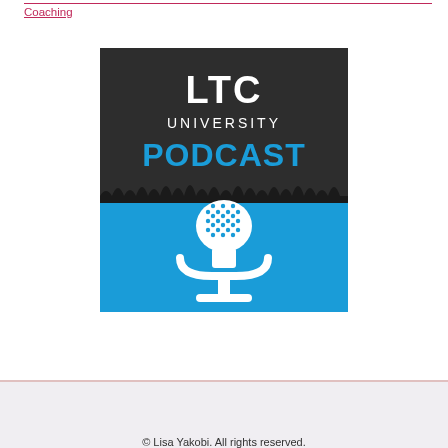Coaching
[Figure (logo): LTC University Podcast logo: dark gray top half with 'LTC UNIVERSITY' in white text and 'PODCAST' in bold blue text, blue bottom half with white microphone illustration and audio waveform silhouette]
© Lisa Yakobi. All rights reserved.